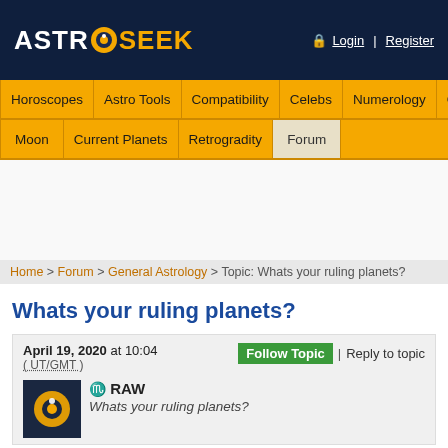ASTRO SEEK — Login | Register
Navigation: Horoscopes | Astro Tools | Compatibility | Celebs | Numerology | Guess Sign | Moon | Current Planets | Retrogradity | Forum
Home > Forum > General Astrology > Topic: Whats your ruling planets?
Whats your ruling planets?
April 19, 2020 at 10:04 (UT/GMT) — Follow Topic | Reply to topic
♏ RAW
Whats your ruling planets?